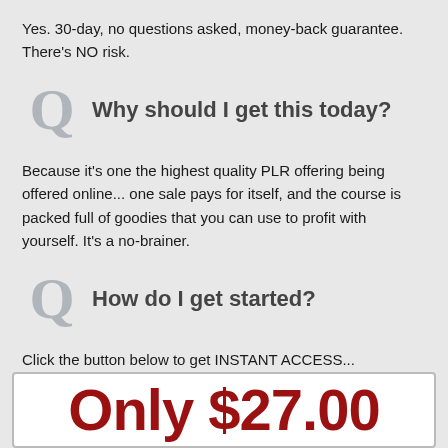Yes. 30-day, no questions asked, money-back guarantee. There's NO risk.
Why should I get this today?
Because it's one the highest quality PLR offering being offered online... one sale pays for itself, and the course is packed full of goodies that you can use to profit with yourself. It's a no-brainer.
How do I get started?
Click the button below to get INSTANT ACCESS...
Only $27.00